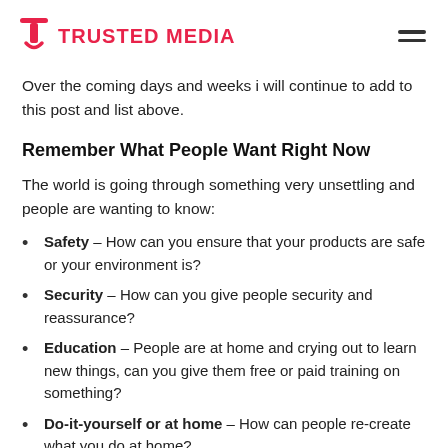TRUSTED MEDIA
Over the coming days and weeks i will continue to add to this post and list above.
Remember What People Want Right Now
The world is going through something very unsettling and people are wanting to know:
Safety – How can you ensure that your products are safe or your environment is?
Security – How can you give people security and reassurance?
Education – People are at home and crying out to learn new things, can you give them free or paid training on something?
Do-it-yourself or at home – How can people re-create what you do at home?